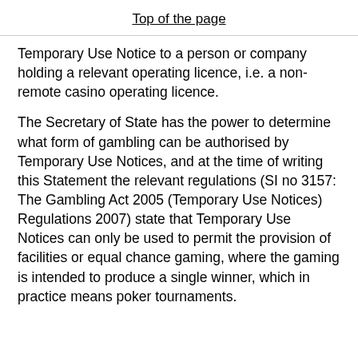Top of the page
Temporary Use Notice to a person or company holding a relevant operating licence, i.e. a non-remote casino operating licence.
The Secretary of State has the power to determine what form of gambling can be authorised by Temporary Use Notices, and at the time of writing this Statement the relevant regulations (SI no 3157: The Gambling Act 2005 (Temporary Use Notices) Regulations 2007) state that Temporary Use Notices can only be used to permit the provision of facilities or equal chance gaming, where the gaming is intended to produce a single winner, which in practice means poker tournaments.